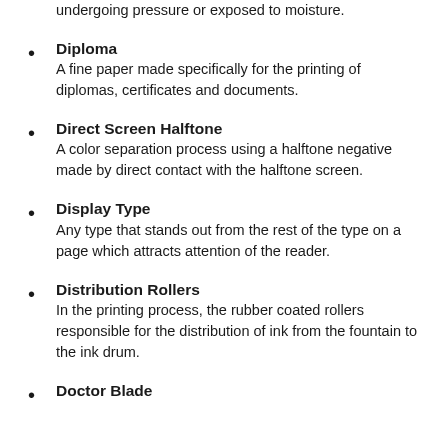undergoing pressure or exposed to moisture.
Diploma
A fine paper made specifically for the printing of diplomas, certificates and documents.
Direct Screen Halftone
A color separation process using a halftone negative made by direct contact with the halftone screen.
Display Type
Any type that stands out from the rest of the type on a page which attracts attention of the reader.
Distribution Rollers
In the printing process, the rubber coated rollers responsible for the distribution of ink from the fountain to the ink drum.
Doctor Blade